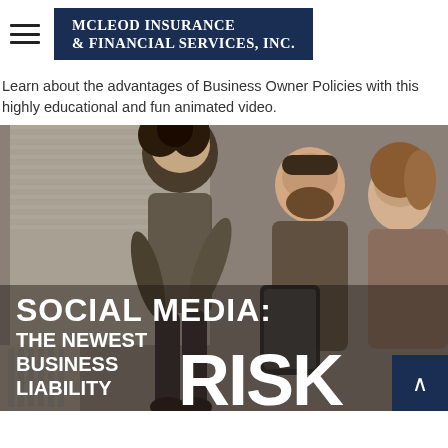McLeod Insurance & Financial Services, Inc.
Learn about the advantages of Business Owner Policies with this highly educational and fun animated video.
[Figure (photo): Three people sitting together looking at a phone/tablet, with overlaid text reading 'SOCIAL MEDIA: THE NEWEST BUSINESS LIABILITY RISK'. A dark navy back-to-top arrow button is in the bottom right corner.]